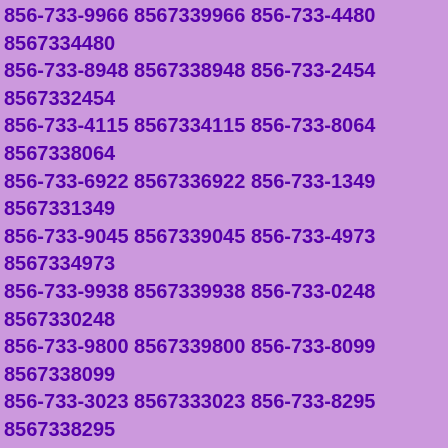856-733-9966 8567339966 856-733-4480 8567334480 856-733-8948 8567338948 856-733-2454 8567332454 856-733-4115 8567334115 856-733-8064 8567338064 856-733-6922 8567336922 856-733-1349 8567331349 856-733-9045 8567339045 856-733-4973 8567334973 856-733-9938 8567339938 856-733-0248 8567330248 856-733-9800 8567339800 856-733-8099 8567338099 856-733-3023 8567333023 856-733-8295 8567338295 856-733-0551 8567330551 856-733-6813 8567336813 856-733-5246 8567335246 856-733-1513 8567331513 856-733-1935 8567331935 856-733-8551 8567338551 856-733-8200 8567338200 856-733-5353 8567335353 856-733-4489 8567334489 856-733-2559 8567332559 856-733-2477 8567332477 856-733-8870 8567338870 856-733-7014 8567337014 856-733-4203 8567334203 856-733-9987 8567339987 856-733-4581 8567334581 856-733-6393 8567336393 856-733-4541 8567334541 856-733-5717 8567335717 856-733-5486 8567335486 856-733-0930 8567330930 856-733-7047 8567337047 856-733-8863 8567338863 856-733-2327 8567332327 856-733-3772 8567333772 856-733-6923 8567336923